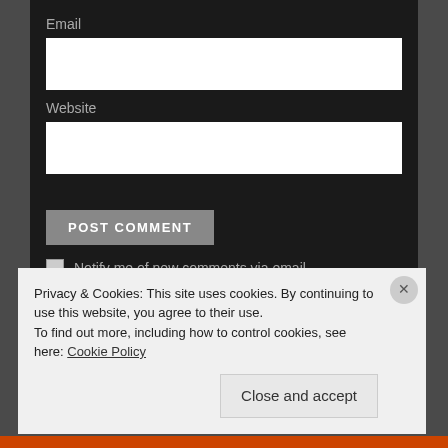Email
Website
POST COMMENT
Notify me of new comments via email.
Notify me of new posts via email.
← Previous Post
Next Post →
Privacy & Cookies: This site uses cookies. By continuing to use this website, you agree to their use.
To find out more, including how to control cookies, see here: Cookie Policy
Close and accept